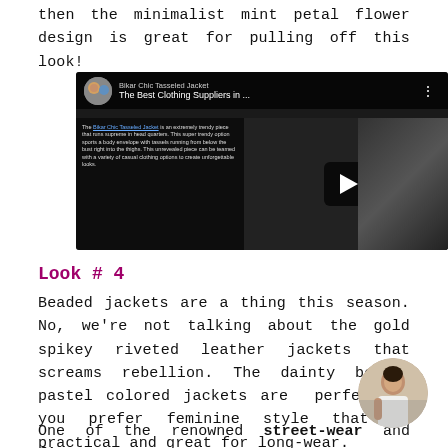then the minimalist mint petal flower design is great for pulling off this look!
[Figure (screenshot): YouTube video embed titled 'The Best Clothing Suppliers in ...' showing a dark video player with a play button, channel thumbnail on top left, and text overlay on left side.]
Look # 4
Beaded jackets are a thing this season. No, we're not talking about the gold spikey riveted leather jackets that screams rebellion. The dainty beaded pastel colored jackets are perfect of you prefer feminine style that is practical and great for long-wear.
One of the renowned street-wear and fitness